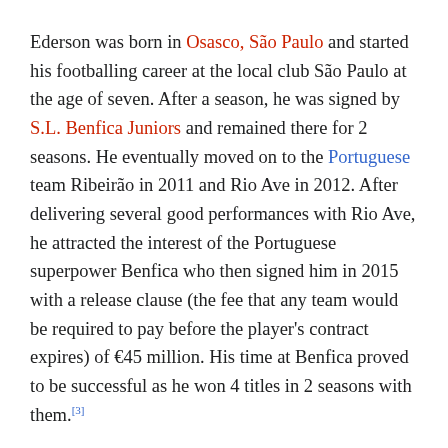Ederson was born in Osasco, São Paulo and started his footballing career at the local club São Paulo at the age of seven. After a season, he was signed by S.L. Benfica Juniors and remained there for 2 seasons. He eventually moved on to the Portuguese team Ribeirão in 2011 and Rio Ave in 2012. After delivering several good performances with Rio Ave, he attracted the interest of the Portuguese superpower Benfica who then signed him in 2015 with a release clause (the fee that any team would be required to pay before the player's contract expires) of €45 million. His time at Benfica proved to be successful as he won 4 titles in 2 seasons with them.[3]
Meanwhile Pep Guardiola, upon his selection as a manager at Manchester City, made many transfers including the buy of Barcelona goalkeeper Claudio Bravo. Due to dissatisfaction with the performances of Bravo and